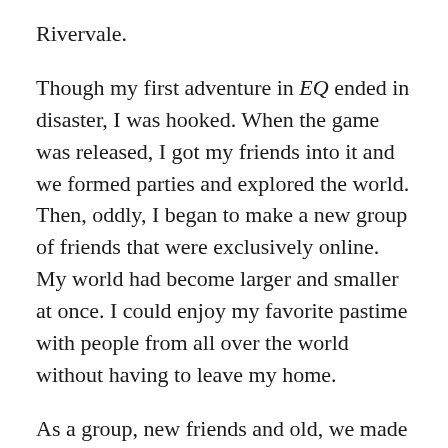Rivervale.
Though my first adventure in EQ ended in disaster, I was hooked. When the game was released, I got my friends into it and we formed parties and explored the world. Then, oddly, I began to make a new group of friends that were exclusively online. My world had become larger and smaller at once. I could enjoy my favorite pastime with people from all over the world without having to leave my home.
As a group, new friends and old, we made our way through the game. We did corpse runs. We sat in the tunnel between the Commons and traded. We camped Guk. We raided the plains. Hell, we raided the moon! It’s sad, I can’t tell you much else about what I was doing in 1999,